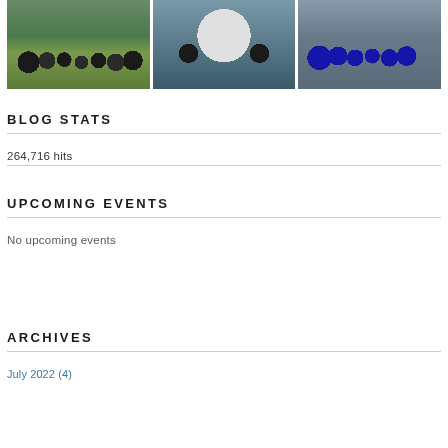[Figure (photo): Three sports/group photos arranged in a row: left shows a sports team group photo outdoors, center shows people seated at a round table eating, right shows a team in blue uniforms posing together]
BLOG STATS
264,716 hits
UPCOMING EVENTS
No upcoming events
ARCHIVES
July 2022 (4)